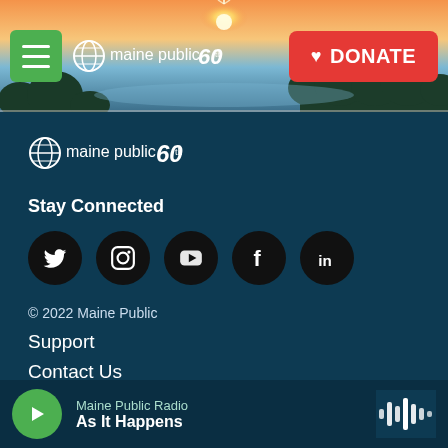[Figure (photo): Maine Public header banner with sunset landscape, hamburger menu button (green), Maine Public 60th anniversary logo, and red DONATE button]
[Figure (logo): Maine Public 60th anniversary logo in white on dark teal background]
Stay Connected
[Figure (other): Row of 5 social media icons: Twitter, Instagram, YouTube, Facebook, LinkedIn — each in black circle]
© 2022 Maine Public
Support
Contact Us
Careers
Maine Public Radio — As It Happens (player bar)